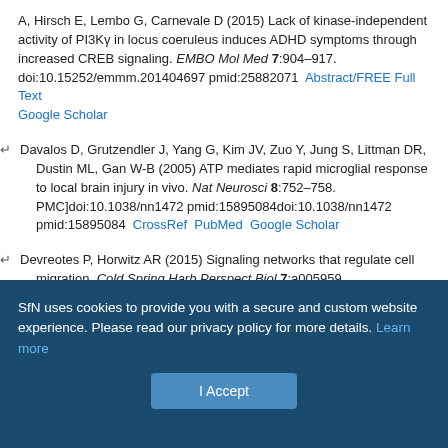A, Hirsch E, Lembo G, Carnevale D (2015) Lack of kinase-independent activity of PI3Ky in locus coeruleus induces ADHD symptoms through increased CREB signaling. EMBO Mol Med 7:904–917. doi:10.15252/emmm.201404697 pmid:25882071  Abstract/FREE Full Text  Google Scholar
Davalos D, Grutzendler J, Yang G, Kim JV, Zuo Y, Jung S, Littman DR, Dustin ML, Gan W-B (2005) ATP mediates rapid microglial response to local brain injury in vivo. Nat Neurosci 8:752–758. PMC]doi:10.1038/nn1472 pmid:15895084doi:10.1038/nn1472 pmid:15895084  CrossRef  PubMed  Google Scholar
Devreotes P, Horwitz AR (2015) Signaling networks that regulate cell migration. Cold Spring Harb Perspect Biol 7:a005959. doi:10.1101/cshperspect.a005959 pmid:26238352  Abstract/FREE Full Text  Google Scholar
SfN uses cookies to provide you with a secure and custom website experience. Please read our privacy policy for more details. Learn more